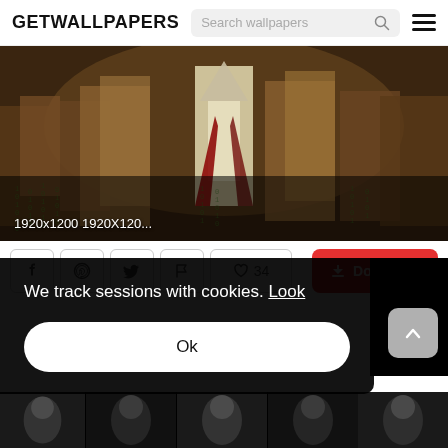GETWALLPAPERS
[Figure (screenshot): Assassin's Creed wallpaper showing a hooded assassin surrounded by a crowd in a historical painting style, with text overlay '1920x1200 1920X120...']
1920x1200 1920X120...
Facebook icon, Pinterest icon, Twitter icon, Flag icon, Heart 34, Download button
We track sessions with cookies. Look
Ok
[Figure (screenshot): Bottom thumbnail strip showing Assassin's Creed character thumbnails]